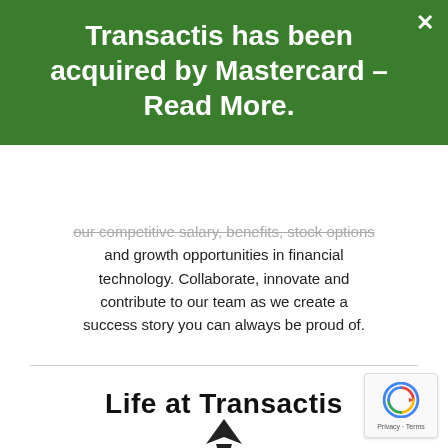Transactis has been acquired by Mastercard – Read More.
our competitive salary, benefits, stock options and growth opportunities in financial technology. Collaborate, innovate and contribute to our team as we create a success story you can always be proud of.
Life at Transactis